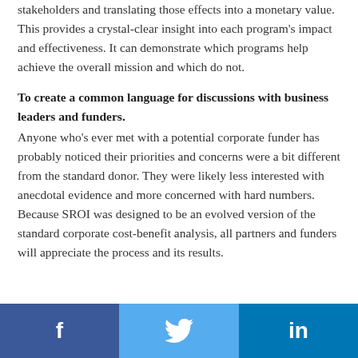stakeholders and translating those effects into a monetary value. This provides a crystal-clear insight into each program's impact and effectiveness. It can demonstrate which programs help achieve the overall mission and which do not.
To create a common language for discussions with business leaders and funders.
Anyone who's ever met with a potential corporate funder has probably noticed their priorities and concerns were a bit different from the standard donor. They were likely less interested with anecdotal evidence and more concerned with hard numbers. Because SROI was designed to be an evolved version of the standard corporate cost-benefit analysis, all partners and funders will appreciate the process and its results.
f  [Twitter bird icon]  in